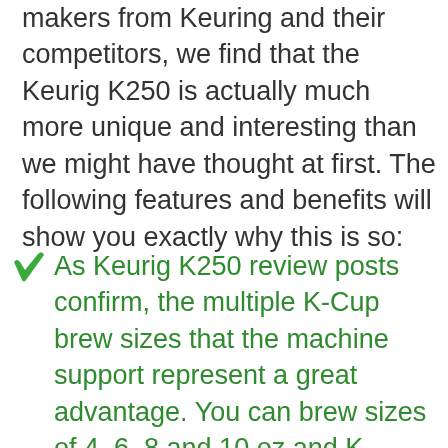makers from Keuring and their competitors, we find that the Keurig K250 is actually much more unique and interesting than we might have thought at first. The following features and benefits will show you exactly why this is so:
As Keurig K250 review posts confirm, the multiple K-Cup brew sizes that the machine support represent a great advantage. You can brew sizes of 4, 6, 8 and 10 oz and K-Carafe sizes of 22, 26 and 30 oz.
This Keurig K250 is one of the most elegant of all, featuring an easy to read touchscreen that allows you to adjust all